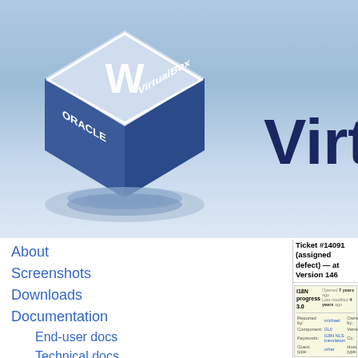[Figure (logo): Oracle VirtualBox 3D cube logo with 'ORACLE' and 'VirtualBox' text on the cube faces, sitting on a reflective base, on a blue gradient background]
VirtualBox
About
Screenshots
Downloads
Documentation
End-user docs
Technical docs
Contribute
Community
Ticket #14091 (assigned defect) — at Version 146
| I18N progress 3.0 | Opened 7 years ago
Last modified 4 years ago |
| Reported by: | michael | Owned by: | michael |
| Component: | GUI | Version: |  |
| Keywords: | I18N NLS translation | Cc: | 6c6c6 |
| Guest type: | other | Host type: | other |